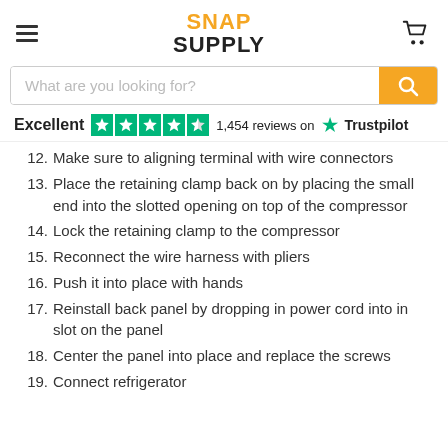SNAP SUPPLY
12. Make sure to aligning terminal with wire connectors
13. Place the retaining clamp back on by placing the small end into the slotted opening on top of the compressor
14. Lock the retaining clamp to the compressor
15. Reconnect the wire harness with pliers
16. Push it into place with hands
17. Reinstall back panel by dropping in power cord into in slot on the panel
18. Center the panel into place and replace the screws
19. Connect refrigerator